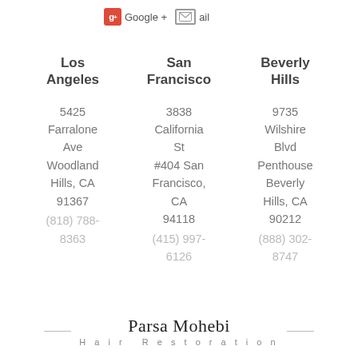Google + ail
Los Angeles
5425 Farralone Ave Woodland Hills, CA 91367
(818) 788-8363
San Francisco
3838 California St #404 San Francisco, CA 94118
(415) 997-6126
Beverly Hills
9735 Wilshire Blvd Penthouse Beverly Hills, CA 90212
(888) 302-8747
Parsa Mohebi Hair Restoration